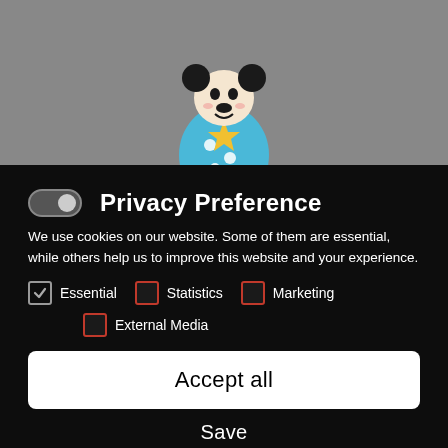[Figure (photo): Gray background with a Mickey Mouse toy figure (blue body with white polka dots and yellow accents)]
Privacy Preference
We use cookies on our website. Some of them are essential, while others help us to improve this website and your experience.
Essential (checked), Statistics (unchecked), Marketing (unchecked)
External Media (unchecked)
Accept all
Save
Individual Privacy Preferences
Cookie Details | Privacy Policy